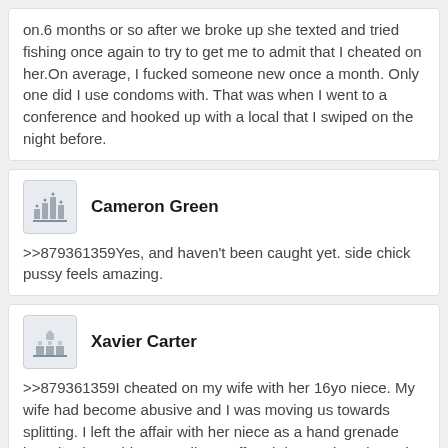on.6 months or so after we broke up she texted and tried fishing once again to try to get me to admit that I cheated on her.On average, I fucked someone new once a month. Only one did I use condoms with. That was when I went to a conference and hooked up with a local that I swiped on the night before.
Cameron Green
>>879361359Yes, and haven't been caught yet. side chick pussy feels amazing.
Xavier Carter
>>879361359I cheated on my wife with her 16yo niece. My wife had become abusive and I was moving us towards splitting. I left the affair with her niece as a hand grenade knowing it would eventually go off and destroy her.I know it was cold, but my now ex-wife knows not to fuck with me.